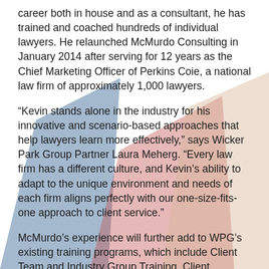career both in house and as a consultant, he has trained and coached hundreds of individual lawyers. He relaunched McMurdo Consulting in January 2014 after serving for 12 years as the Chief Marketing Officer of Perkins Coie, a national law firm of approximately 1,000 lawyers.
“Kevin stands alone in the industry for his innovative and scenario-based approaches that help lawyers learn more effectively,” says Wicker Park Group Partner Laura Meherg. “Every law firm has a different culture, and Kevin’s ability to adapt to the unique environment and needs of each firm aligns perfectly with our one-size-fits-one approach to client service.”
McMurdo’s experience will further add to WPG’s existing training programs, which include Client Team and Industry Group Training, Client Feedback Interview Training, Retreats and Workshops, Leadership Training and Client Service Training.
“Wicker Park Group enjoys an exceptionally strong position